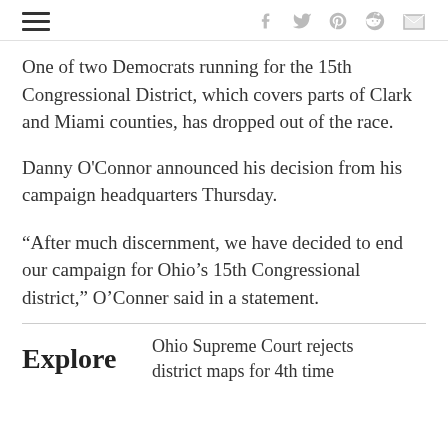☰  f  𝕏  p  reddit  ✉
One of two Democrats running for the 15th Congressional District, which covers parts of Clark and Miami counties, has dropped out of the race.
Danny O'Connor announced his decision from his campaign headquarters Thursday.
“After much discernment, we have decided to end our campaign for Ohio’s 15th Congressional district,” O’Conner said in a statement.
Ohio Supreme Court rejects district maps for 4th time